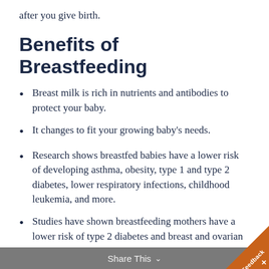after you give birth.
Benefits of Breastfeeding
Breast milk is rich in nutrients and antibodies to protect your baby.
It changes to fit your growing baby’s needs.
Research shows breastfed babies have a lower risk of developing asthma, obesity, type 1 and type 2 diabetes, lower respiratory infections, childhood leukemia, and more.
Studies have shown breastfeeding mothers have a lower risk of type 2 diabetes and breast and ovarian cancers.
Share This ∨